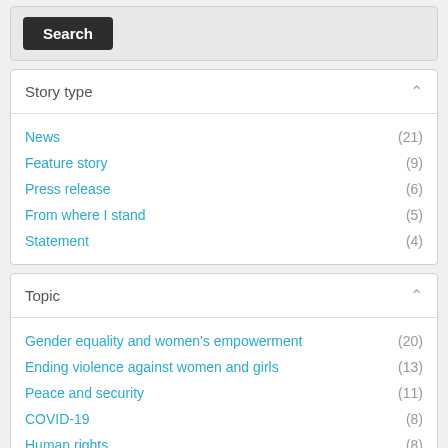Search
Story type
News (21)
Feature story (9)
Press release (6)
From where I stand (5)
Statement (4)
Topic
Gender equality and women's empowerment (20)
Ending violence against women and girls (13)
Peace and security (11)
COVID-19 (8)
Human rights (8)